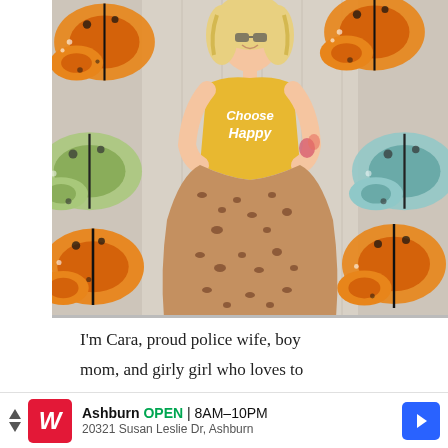[Figure (photo): A smiling blonde woman wearing a yellow 'Choose Happy' sleeveless top tied at the waist and a brown leopard print midi skirt, standing in front of a wall decorated with large butterfly illustrations (monarch butterflies in orange/black, and others in green/black and teal/black). She has visible tattoos on her arm.]
I'm Cara, proud police wife, boy mom, and girly girl who loves to
Ashburn OPEN 8AM–10PM 20321 Susan Leslie Dr, Ashburn